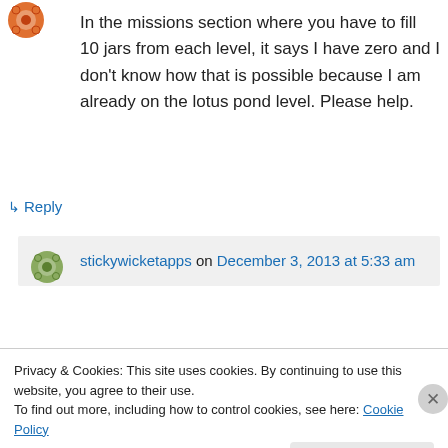[Figure (illustration): User avatar icon - orange/red decorative circular icon]
In the missions section where you have to fill 10 jars from each level, it says I have zero and I don't know how that is possible because I am already on the lotus pond level. Please help.
↳ Reply
[Figure (illustration): stickywicketapps user avatar - green/grey decorative circular icon]
stickywicketapps on December 3, 2013 at 5:33 am
Privacy & Cookies: This site uses cookies. By continuing to use this website, you agree to their use.
To find out more, including how to control cookies, see here: Cookie Policy
Close and accept